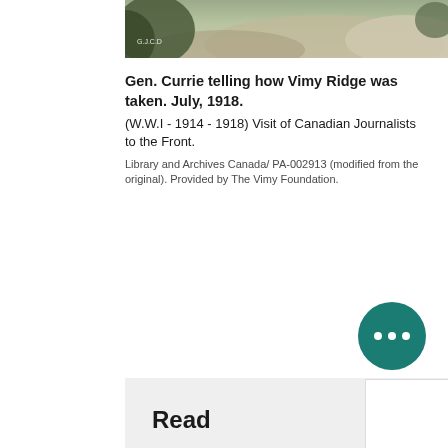[Figure (photo): Partial view of a historical black and white or muted-color photograph showing a rocky/outdoor scene, cropped at top of page. Small text watermark visible in lower left of the photo strip reading 'G.J.C.D'.]
Gen. Currie telling how Vimy Ridge was taken. July, 1918.
(W.W.I - 1914 - 1918) Visit of Canadian Journalists to the Front.
Library and Archives Canada/ PA-002913 (modified from the original). Provided by The Vimy Foundation.
[Figure (other): Teal/dark green circular button with three white dots (ellipsis) in the lower right area of the page.]
Read